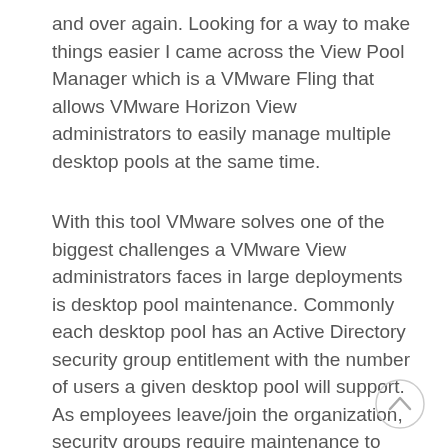and over again. Looking for a way to make things easier I came across the View Pool Manager which is a VMware Fling that allows VMware Horizon View administrators to easily manage multiple desktop pools at the same time.
With this tool VMware solves one of the biggest challenges a VMware View administrators faces in large deployments is desktop pool maintenance. Commonly each desktop pool has an Active Directory security group entitlement with the number of users a given desktop pool will support. As employees leave/join the organization, security groups require maintenance to ensure the number of users in each group correctly match the amount of desktops